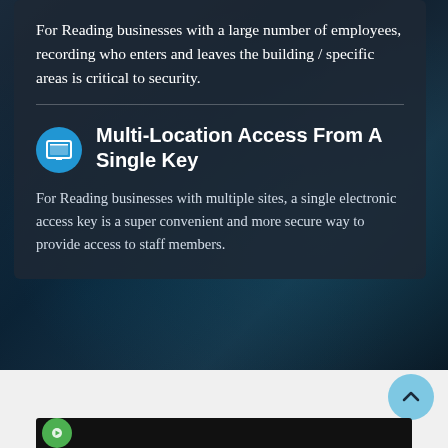For Reading businesses with a large number of employees, recording who enters and leaves the building / specific areas is critical to security.
Multi-Location Access From A Single Key
For Reading businesses with multiple sites, a single electronic access key is a super convenient and more secure way to provide access to staff members.